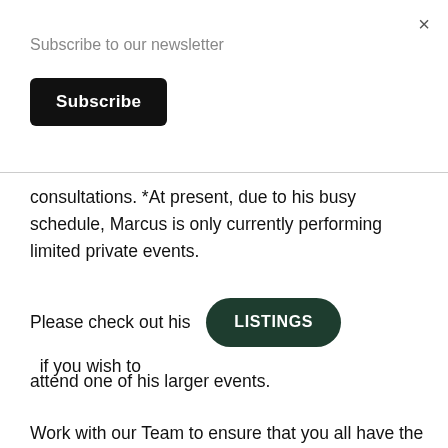×
Subscribe to our newsletter
Subscribe
consultations. *At present, due to his busy schedule, Marcus is only currently performing limited private events.
Please check out his LISTINGS if you wish to attend one of his larger events.
Work with our Team to ensure that you all have the experience of a lifetime. Be prepared though as these events may give you more than you bargain for.
Call or Text Marcus Starr on 0800 099 6138 or email